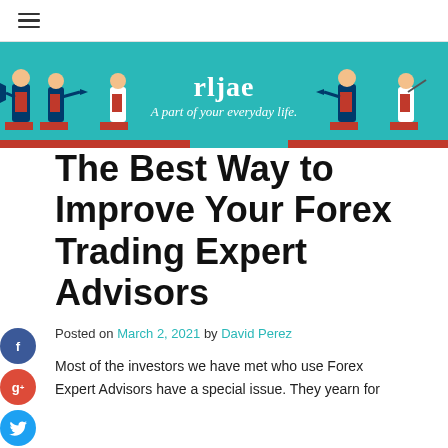≡
[Figure (illustration): Teal banner with business figures debating/arguing at podiums, with text 'rljae - A part of your everyday life.']
The Best Way to Improve Your Forex Trading Expert Advisors
Posted on March 2, 2021 by David Perez
Most of the investors we have met who use Forex Expert Advisors have a special issue. They yearn for